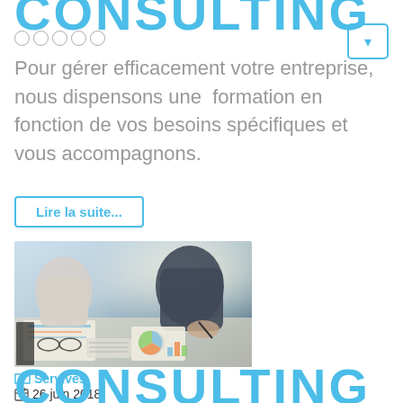CONSULTING
○○○○○
Pour gérer efficacement votre entreprise, nous dispensons une  formation en fonction de vos besoins spécifiques et vous accompagnons.
Lire la suite...
[Figure (photo): Business meeting scene: two people at a desk with documents, charts, glasses, and a laptop, working together.]
Servives
26 juin 2018
Affichages : 2697
CONSULTING